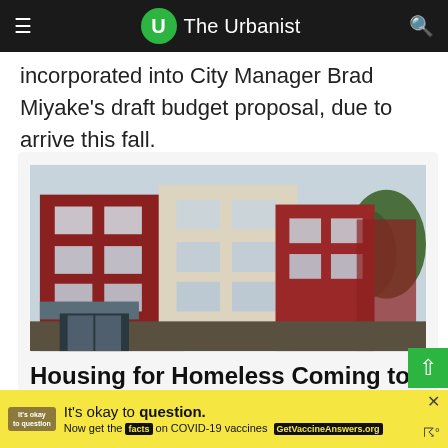The Urbanist
incorporated into City Manager Brad Miyake's draft budget proposal, due to arrive this fall.
[Figure (photo): Multi-story apartment building with red and beige siding, residential housing complex]
Housing for Homeless Coming to the Eastside Despite Opposition